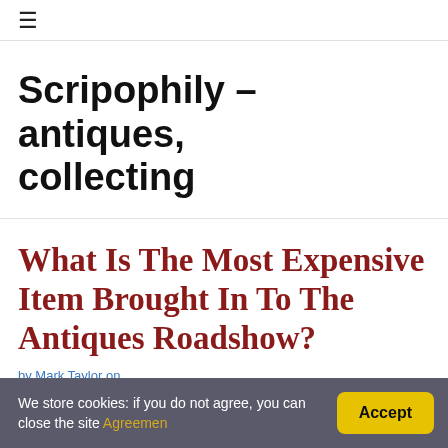≡
Scripophily – antiques, collecting
What Is The Most Expensive Item Brought In To The Antiques Roadshow?
by Mark Taylor on
Contents [hide]
We store cookies: if you do not agree, you can close the site Agreement